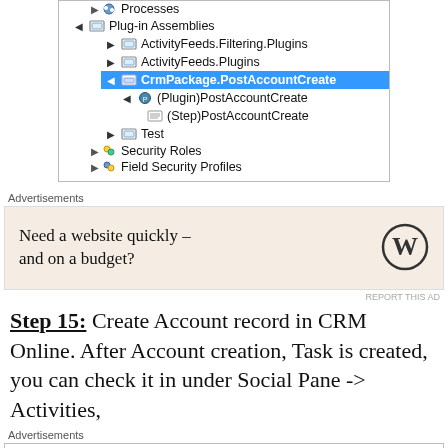[Figure (screenshot): Software tree view panel showing plugin assemblies hierarchy including Plug-in Assemblies, ActivityFeeds.Filtering.Plugins, ActivityFeeds.Plugins, CrmPackage.PostAccountCreate (highlighted in blue), (Plugin)PostAccountCreate, (Step)PostAccountCreate, Test, Security Roles, Field Security Profiles]
Advertisements
[Figure (photo): Advertisement: Need a website quickly – and on a budget? WordPress logo]
Step 15: Create Account record in CRM Online. After Account creation, Task is created, you can check it in under Social Pane -> Activities,
Advertisements
[Figure (photo): Advertisement: Bloomingdales – View Today's Top Deals! SHOP NOW >]